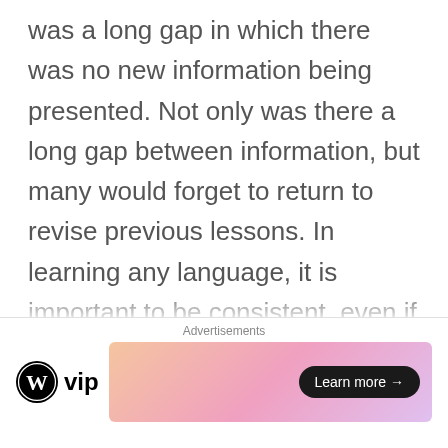was a long gap in which there was no new information being presented. Not only was there a long gap between information, but many would forget to return to revise previous lessons. In learning any language, it is important to be consistent, even if it is only once a day. Thus, Japanese Word of the Week Wednesday was born. Word of the Week Wednesday not only acts as a great reminder for those who have either missed previous lessons or those who simply require revision, returning to previous lessons and articles, but
Advertisements
[Figure (other): WordPress VIP logo and advertisement banner with 'Learn more' button]